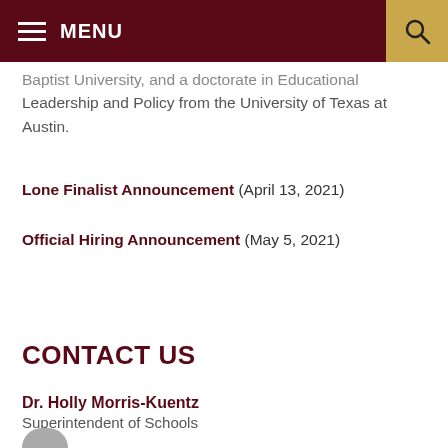MENU
Baptist University, and a doctorate in Educational Leadership and Policy from the University of Texas at Austin.
Lone Finalist Announcement (April 13, 2021)
Official Hiring Announcement (May 5, 2021)
CONTACT US
Dr. Holly Morris-Kuentz
Superintendent of Schools